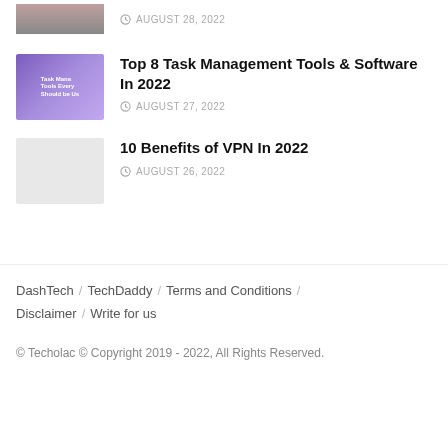[Figure (photo): Partial thumbnail image at top, person visible]
AUGUST 28, 2022
[Figure (illustration): Purple gradient thumbnail with text Task Management Tools]
Top 8 Task Management Tools & Software In 2022
AUGUST 27, 2022
[Figure (photo): Light grey thumbnail for VPN article]
10 Benefits of VPN In 2022
AUGUST 26, 2022
DashTech / TechDaddy / Terms and Conditions / Disclaimer / Write for us
© Techolac © Copyright 2019 - 2022, All Rights Reserved.